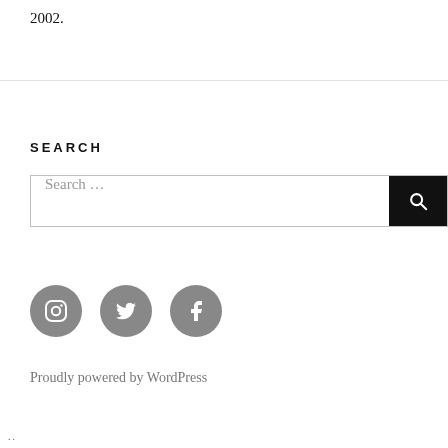2002.
SEARCH
[Figure (other): Search bar with text input placeholder 'Search ...' and a black search button with magnifying glass icon]
[Figure (other): Three social media icon circles (Instagram, Twitter, Facebook) in gray]
Proudly powered by WordPress
..